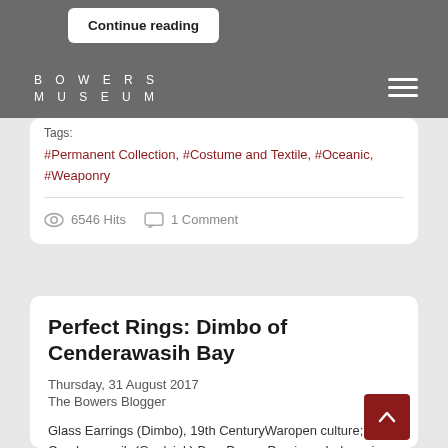Continue reading
BOWERS MUSEUM
Tags:
#Permanent Collection, #Costume and Textile, #Oceanic, #Weaponry
6546 Hits   1 Comment
Perfect Rings: Dimbo of Cenderawasih Bay
Thursday, 31 August 2017
The Bowers Blogger
Glass Earrings (Dimbo), 19th CenturyWaropen culture; Cenderawasih (Geelvink) Bay, Papua Province, Indonesia, MelanesiaGlass2017.8.1-.5Bowers Museum PurchaseThough